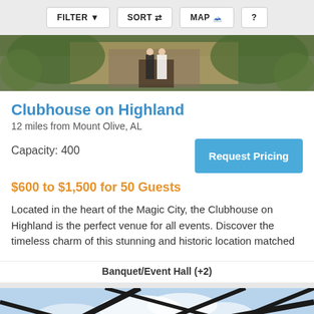FILTER | SORT | MAP | ?
[Figure (photo): Hero image of a couple standing in front of a brick building entrance with greenery]
Clubhouse on Highland
12 miles from Mount Olive, AL
Capacity: 400
$600 to $1,500 for 50 Guests
Located in the heart of the Magic City, the Clubhouse on Highland is the perfect venue for all events. Discover the timeless charm of this stunning and historic location matched
Banquet/Event Hall (+2)
[Figure (photo): Interior skylight view showing geometric metal frame structure against blue sky with clouds]